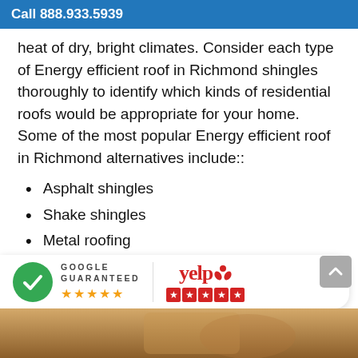Call 888.933.5939
heat of dry, bright climates. Consider each type of Energy efficient roof in Richmond shingles thoroughly to identify which kinds of residential roofs would be appropriate for your home. Some of the most popular Energy efficient roof in Richmond alternatives include::
Asphalt shingles
Shake shingles
Metal roofing
Slate roofing
[Figure (logo): Google Guaranteed badge with green checkmark and 5 orange stars, and Yelp logo with 5 red star boxes]
[Figure (photo): Bottom portion showing roofing material in warm brown/orange tones]